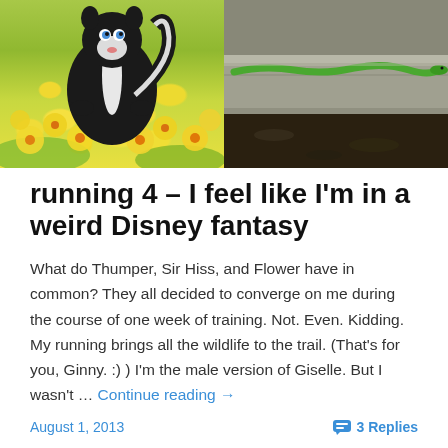[Figure (photo): Two side-by-side images: left shows a Disney illustration of Flower the skunk sitting among yellow flowers; right shows a real photo of a green snake on a stone curb with soil in the background.]
running 4 – I feel like I'm in a weird Disney fantasy
What do Thumper, Sir Hiss, and Flower have in common? They all decided to converge on me during the course of one week of training. Not. Even. Kidding. My running brings all the wildlife to the trail. (That's for you, Ginny. :) ) I'm the male version of Giselle. But I wasn't … Continue reading →
August 1, 2013
3 Replies